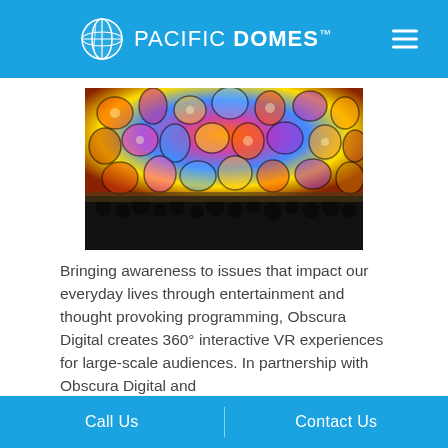PACIFIC DOMES™
[Figure (photo): Dome projection interior with colorful cell-like pattern projected on ceiling above silhouetted audience]
Bringing awareness to issues that impact our everyday lives through entertainment and thought provoking programming, Obscura Digital creates 360° interactive VR experiences for large-scale audiences. In partnership with Obscura Digital and
Call Us   Contact Us